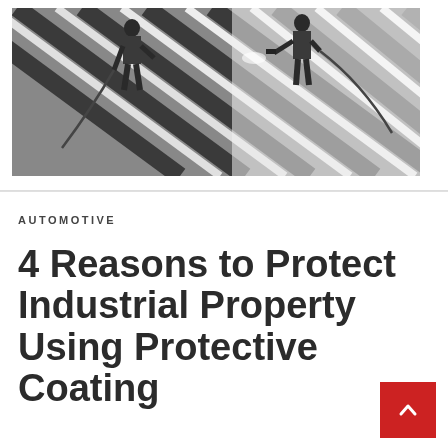[Figure (photo): Workers spraying white coating on a corrugated metal roof viewed from above at an angle, showing alternating dark and light metal panels with workers using spray equipment with hoses.]
AUTOMOTIVE
4 Reasons to Protect Industrial Property Using Protective Coating